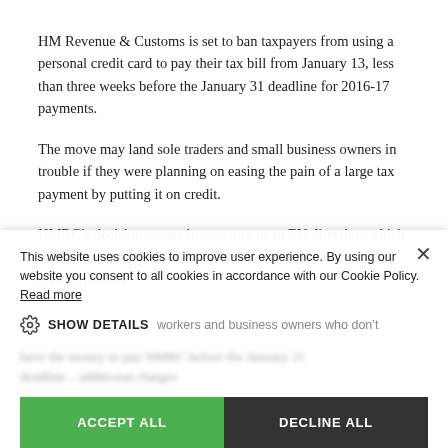HM Revenue & Customs is set to ban taxpayers from using a personal credit card to pay their tax bill from January 13, less than three weeks before the January 31 deadline for 2016-17 payments.
The move may land sole traders and small business owners in trouble if they were planning on easing the pain of a large tax payment by putting it on credit.
HMRC’s decision comes in response to an EU directive, which means that businesses cannot pass on credit card charges to their customers.
[partially obscured paragraph about timing of the change]
This website uses cookies to improve user experience. By using our website you consent to all cookies in accordance with our Cookie Policy. Read more
SHOW DETAILS
[blurred text: workers and business owners who don’t have the money to pay HMRC before the January 31 deadline – additional charges]